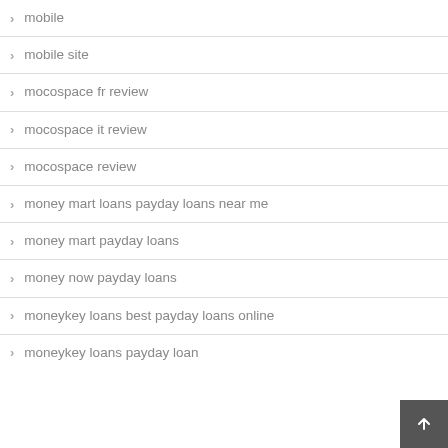mobile
mobile site
mocospace fr review
mocospace it review
mocospace review
money mart loans payday loans near me
money mart payday loans
money now payday loans
moneykey loans best payday loans online
moneykey loans payday loan